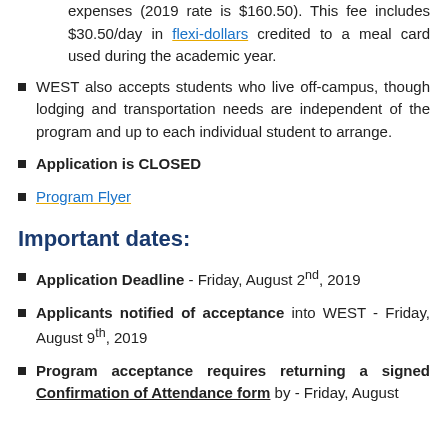expenses (2019 rate is $160.50). This fee includes $30.50/day in flexi-dollars credited to a meal card used during the academic year.
WEST also accepts students who live off-campus, though lodging and transportation needs are independent of the program and up to each individual student to arrange.
Application is CLOSED
Program Flyer
Important dates:
Application Deadline - Friday, August 2nd, 2019
Applicants notified of acceptance into WEST - Friday, August 9th, 2019
Program acceptance requires returning a signed Confirmation of Attendance form by - Friday, August